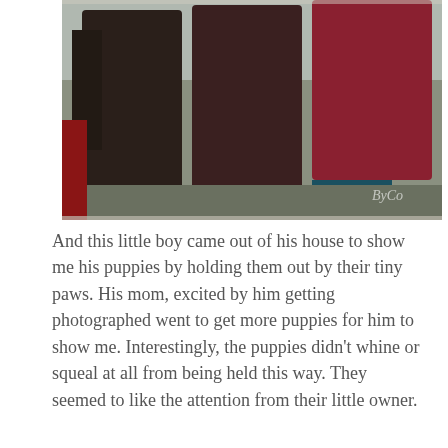[Figure (photo): Three people standing outdoors in winter jackets, partial view showing torsos and legs. Photo has a worn/torn edge effect. Watermark 'ByCo' visible in lower right.]
And this little boy came out of his house to show me his puppies by holding them out by their tiny paws. His mom, excited by him getting photographed went to get more puppies for him to show me. Interestingly, the puppies didn't whine or squeal at all from being held this way. They seemed to like the attention from their little owner.
[Figure (photo): A cardboard box filled with black plastic bags, positioned in what appears to be a doorway or window opening of a building. Wires are visible crossing in front. Photo has worn/torn edge effect. Watermark '© BryCo[rn]' visible on right side.]